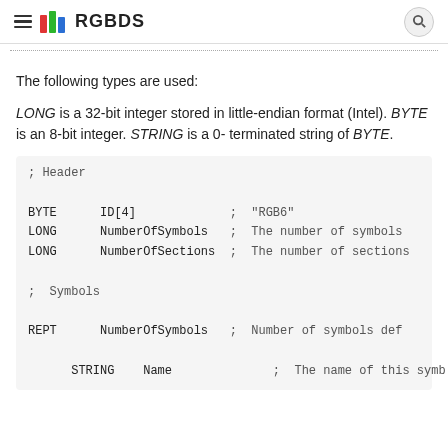RGBDS
The following types are used:
LONG is a 32-bit integer stored in little-endian format (Intel). BYTE is an 8-bit integer. STRING is a 0-terminated string of BYTE.
; Header

BYTE      ID[4]             ;  "RGB6"
LONG      NumberOfSymbols   ;  The number of symbols
LONG      NumberOfSections  ;  The number of sections

;  Symbols

REPT      NumberOfSymbols   ;  Number of symbols def

STRING    Name              ;  The name of this symb